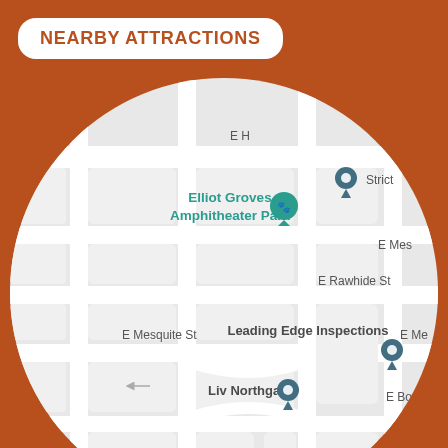NEARBY ATTRACTIONS
[Figure (map): Circular map showing nearby attractions including Elliot Groves Amphitheater Park, Leading Edge Inspections, Liv Northgate, Warner Meadows by Lennar Homes, and other nearby streets and landmarks.]